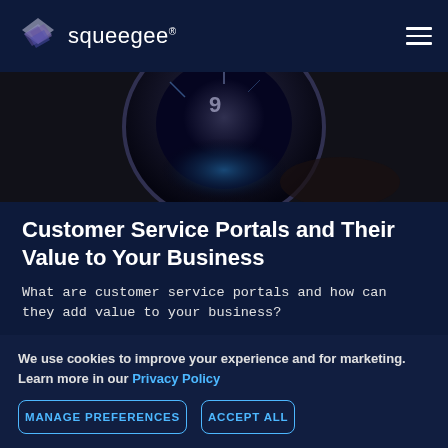squeegee®
[Figure (photo): Close-up photo of a dark metallic dial or lens with blue light reflection, shot from above on a dark background]
Customer Service Portals and Their Value to Your Business
What are customer service portals and how can they add value to your business?
Read more →
Alie Slater
14th December 2021
We use cookies to improve your experience and for marketing. Learn more in our Privacy Policy
MANAGE PREFERENCES
ACCEPT ALL